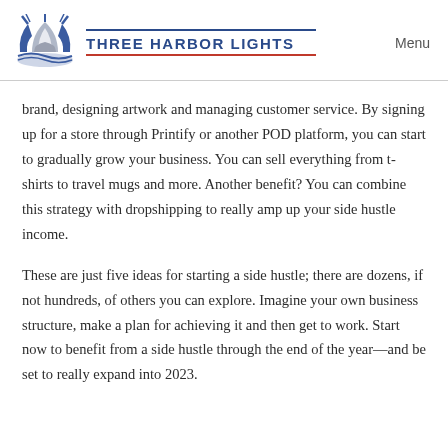[Figure (logo): Three Harbor Lights logo with lighthouse/sunburst graphic in blue and gray, company name in blue with red underline]
brand, designing artwork and managing customer service. By signing up for a store through Printify or another POD platform, you can start to gradually grow your business. You can sell everything from t-shirts to travel mugs and more. Another benefit? You can combine this strategy with dropshipping to really amp up your side hustle income.
These are just five ideas for starting a side hustle; there are dozens, if not hundreds, of others you can explore. Imagine your own business structure, make a plan for achieving it and then get to work. Start now to benefit from a side hustle through the end of the year—and be set to really expand into 2023.